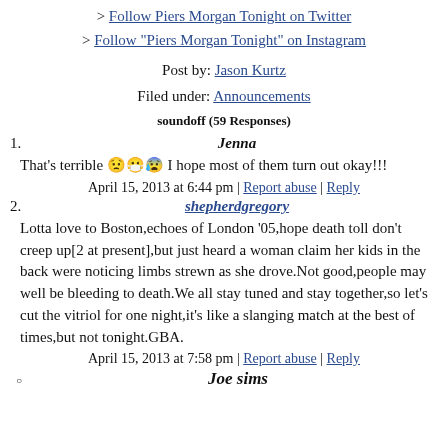> Follow Piers Morgan Tonight on Twitter
> Follow "Piers Morgan Tonight" on Instagram
Post by: Jason Kurtz
Filed under: Announcements
soundoff (59 Responses)
1. Jenna
That's terrible 😟😷😰 I hope most of them turn out okay!!!
April 15, 2013 at 6:44 pm | Report abuse | Reply
2. shepherdgregory
Lotta love to Boston,echoes of London '05,hope death toll don't creep up[2 at present],but just heard a woman claim her kids in the back were noticing limbs strewn as she drove.Not good,people may well be bleeding to death.We all stay tuned and stay together,so let's cut the vitriol for one night,it's like a slanging match at the best of times,but not tonight.GBA.
April 15, 2013 at 7:58 pm | Report abuse | Reply
○ Joe sims